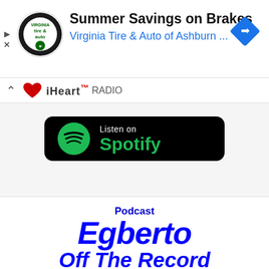[Figure (screenshot): Advertisement banner for Virginia Tire & Auto of Ashburn showing circular logo, play and close icons, text 'Summer Savings on Brakes' and 'Virginia Tire & Auto of Ashburn ...', and a blue navigation diamond icon on the right.]
[Figure (screenshot): Listen on Spotify badge - black rounded rectangle button with the Spotify green logo and text 'Listen on Spotify']
[Figure (screenshot): Podcast section showing 'Podcast' label, 'Egberto' in large bold italic blue text, 'Off The Record' below it, and partial vinyl record image at bottom.]